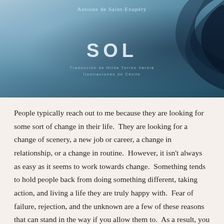[Figure (illustration): Book cover image with blue-grey snowy or sandy landscape background and a dark curved path/trail. Text reads 'Antoine de Saint-Exupéry' at top, 'SOL' in large letters center, and subtitle text below SOL.]
People typically reach out to me because they are looking for some sort of change in their life.  They are looking for a change of scenery, a new job or career, a change in relationship, or a change in routine.  However, it isn't always as easy as it seems to work towards change.  Something tends to hold people back from doing something different, taking action, and living a life they are truly happy with.  Fear of failure, rejection, and the unknown are a few of these reasons that can stand in the way if you allow them to.  As a result, you become complacent with your current lifestyle and the consequences can be feeling stuck and